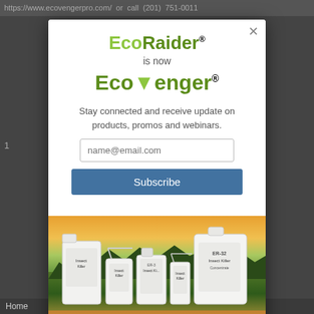https://www.ecovengerropro.com/ or call (201) 751-0011
EcoRaider® is now Ecovenger®
Stay connected and receive update on products, promos and webinars.
name@email.com
Subscribe
[Figure (photo): Product photo showing multiple EcoRaider/Ecovenger Insect Killer bottles of various sizes against a sunset farm landscape background with text 'Naturally Effective for Professionals']
Home